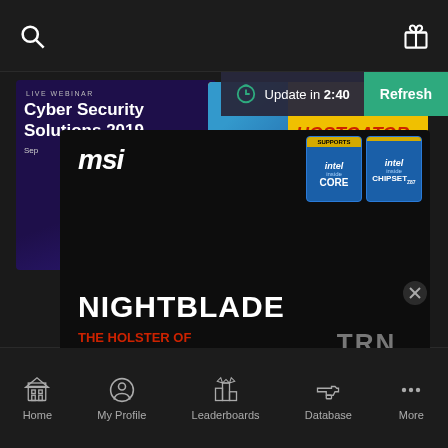Search | Gift
[Figure (screenshot): Mobile app screenshot showing multiple overlapping advertisements: a Cyber Security Solutions 2019 live webinar ad, a HostGator ad, and an MSI Nightblade gaming PC ad with Intel Core and Intel Chipset Z87 badges. Update in 2:40 / Refresh bar visible at top right. TRN Tracker Network logo visible. Close button (X) on right side. Premium users notice and Upgrade link at bottom.]
Premium users d
Upgrade fo
Home | My Profile | Leaderboards | Database | More